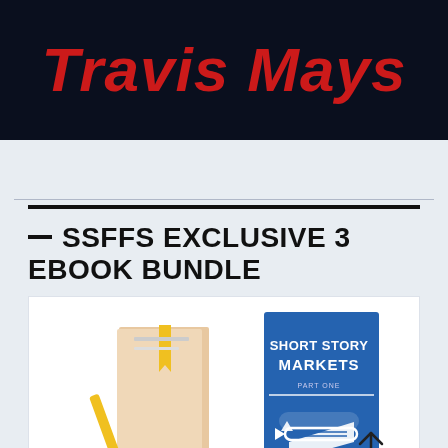[Figure (illustration): Dark navy banner with large bold red italic text reading 'Travis Mays']
— SSFFS EXCLUSIVE 3 EBOOK BUNDLE
[Figure (photo): Image of physical books including one titled 'SHORT STORY MARKETS PART ONE' with a blue cover showing a pencil/arrow icon, alongside other books with a yellow bookmark. A white up-arrow icon is visible at the bottom right.]